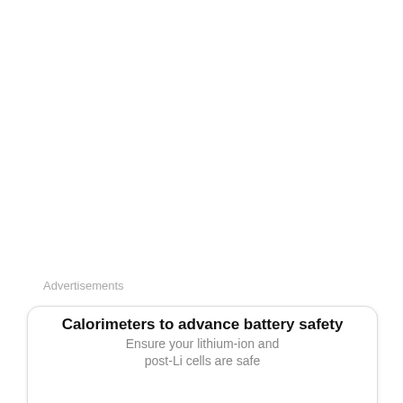Advertisements
[Figure (photo): Advertisement card showing laboratory calorimeter equipment for battery safety testing. Title: 'Calorimeters to advance battery safety'. Subtitle: 'Ensure your lithium-ion and post-Li cells are safe'. Photo shows lab bench with computer monitors, white box equipment, and large battery testing apparatus.]